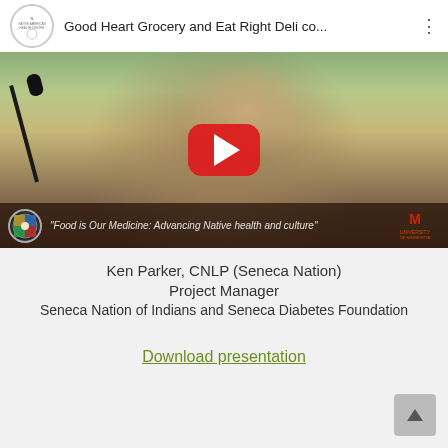[Figure (screenshot): YouTube video thumbnail showing a man speaking at a panel table with a microphone, wearing a patterned jacket, with a YouTube play button overlay. Video title: 'Good Heart Grocery and Eat Right Deli co...' Banner at bottom reads: 'Food is Our Medicine: Advancing Native health and culture']
Ken Parker, CNLP (Seneca Nation)
Project Manager
Seneca Nation of Indians and Seneca Diabetes Foundation
Download presentation